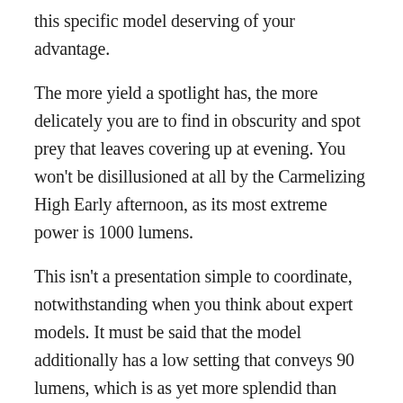this specific model deserving of your advantage.
The more yield a spotlight has, the more delicately you are to find in obscurity and spot prey that leaves covering up at evening. You won't be disillusioned at all by the Carmelizing High Early afternoon, as its most extreme power is 1000 lumens.
This isn't a presentation simple to coordinate, notwithstanding when you think about expert models. It must be said that the model additionally has a low setting that conveys 90 lumens, which is as yet more splendid than what comparative items can offer.
When chasing, you will require a fundamental light, most importantly. While there are extravagant models